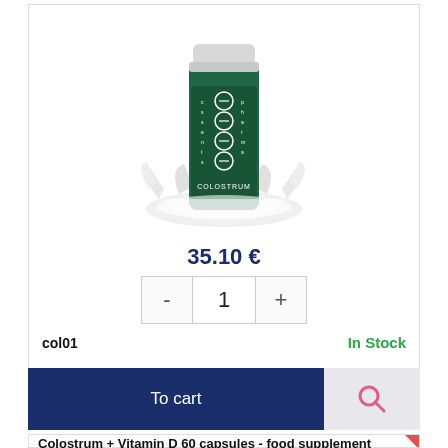[Figure (photo): Green supplement bottle labeled COLOSTRUM with white capsule icons on dark green label, sitting in a milk splash]
35.10 €
- 1 +
col01
In Stock
To cart
[Figure (other): Search magnifying glass icon]
Colostrum + Vitamin D 60 capsules - food supplement